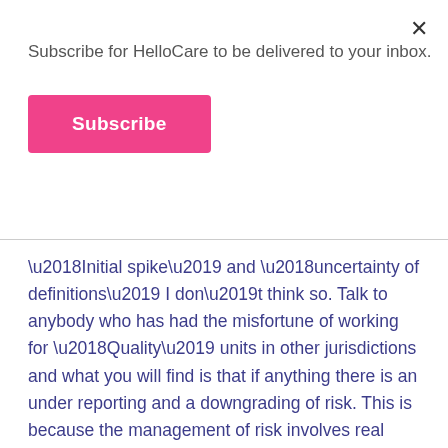Subscribe for HelloCare to be delivered to your inbox.
Subscribe
‘Initial spike’ and ‘uncertainty of definitions’ I don’t think so. Talk to anybody who has had the misfortune of working for ‘Quality’ units in other jurisdictions and what you will find is that if anything there is an under reporting and a downgrading of risk. This is because the management of risk involves real money which these facilities do not have. Editing incident reports and downgrading the level of the incident occurs frequently. Sometimes a risk is identified and the Executive will not or cannot afford to hire more staff, increase the quality of staff, make organisational change, etc. This is why incident reporting has become almost a waste of